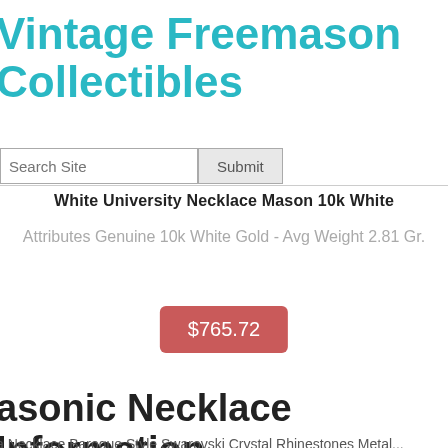Vintage Freemason Collectibles
Search Site | Submit
White University Necklace Mason 10k White
Attributes Genuine 10k White Gold - Avg Weight 2.81 Gr.
$765.72
asonic Necklace Information
a Necklace Baroque Style Swarovski Crystal Rhinestones Metal...